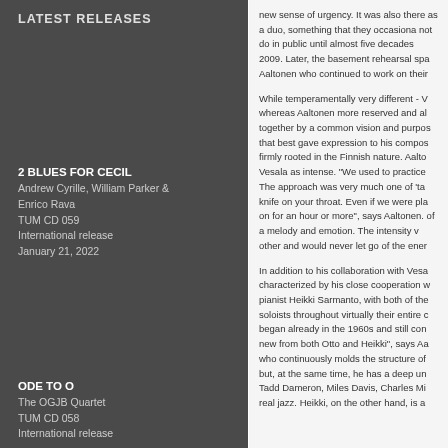LATEST RELEASES
2 BLUES FOR CECIL
Andrew Cyrille, William Parker & Enrico Rava
TUM CD 059
International release
January 21, 2022
ODE TO O
The OGJB Quartet
TUM CD 058
International release
new sense of urgency. It was also there as a duo, something that they occasionally not do in public until almost five decades 2009. Later, the basement rehearsal spa Aaltonen who continued to work on their
While temperamentally very different - V whereas Aaltonen more reserved and al together by a common vision and purpos that best gave expression to his compos firmly rooted in the Finnish nature. Aalto Vesala as intense. "We used to practice The approach was very much one of 'ta knife on your throat. Even if we were pla on for an hour or more", says Aaltonen. of a melody and emotion. The intensity v other and would never let go of the ener
In addition to his collaboration with Vesa characterized by his close cooperation w pianist Heikki Sarmanto, with both of the soloists throughout virtually their entire c began already in the 1960s and still con new from both Otto and Heikki", says Aa who continuously molds the structure of but, at the same time, he has a deep un Tadd Dameron, Miles Davis, Charles Mi real jazz. Heikki, on the other hand, is a